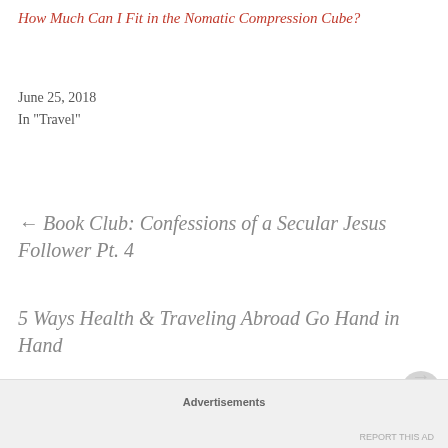How Much Can I Fit in the Nomatic Compression Cube?
June 25, 2018
In "Travel"
← Book Club: Confessions of a Secular Jesus Follower Pt. 4
5 Ways Health & Traveling Abroad Go Hand in Hand →
1 thought on “Is packing in a 19 liter
Advertisements
REPORT THIS AD